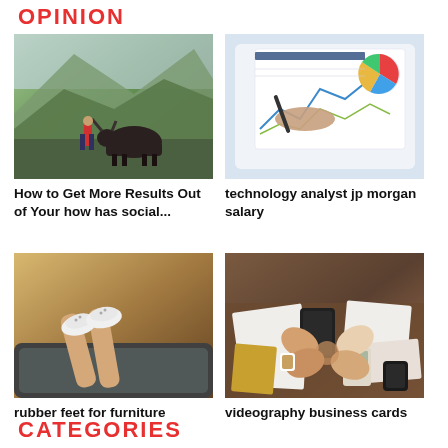OPINION
[Figure (photo): Person walking with a water buffalo in a green mountainous landscape]
[Figure (photo): Hands using a tablet showing financial charts and graphs with a stylus]
How to Get More Results Out of Your how has social...
technology analyst jp morgan salary
[Figure (photo): Legs with sneakers hanging out of a car window on a country road]
[Figure (photo): People fist bumping over a desk covered with papers, tablets, and office supplies]
rubber feet for furniture
videography business cards
CATEGORIES